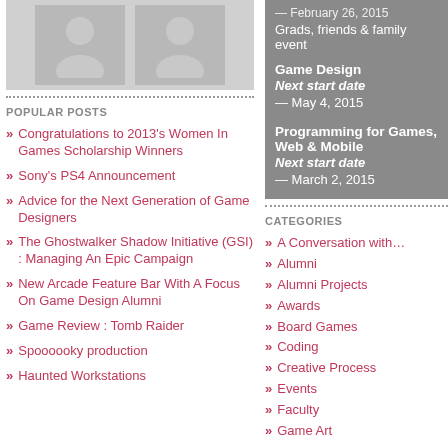[Figure (photo): Two placeholder avatar silhouette images side by side on a grey background]
POPULAR POSTS
Congratulations to 2013's Women In Games Scholarship Winners
Sony's PS4 Announcement
Advice for the Next Generation of Game Designers
The Ghostwalker Shadow Initiative (GSI) : Managing An Epic Campaign
New Arcade Feature Bar With A Focus On Game Design Alumni
Game Review : Tomb Raider
Spoooooky production
Haunted Workstations
— February 26, 2015
Grads, friends & family event
Game Design
Next start date
— May 4, 2015
Programming for Games, Web & Mobile
Next start date
— March 2, 2015
CATEGORIES
A Conversation with…
Alumni
Alumni Projects
Awards
Board Games
Coding
Creative Process
Events
Faculty
Game Art